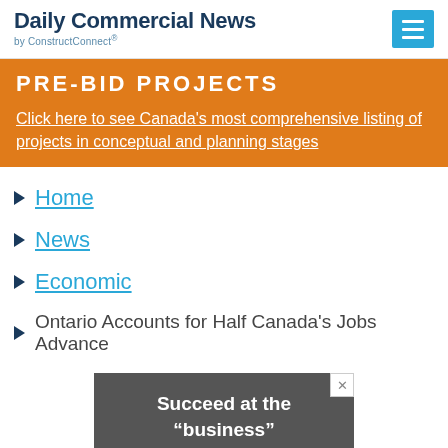Daily Commercial News by ConstructConnect
PRE-BID PROJECTS
Click here to see Canada's most comprehensive listing of projects in conceptual and planning stages
Home
News
Economic
Ontario Accounts for Half Canada's Jobs Advance
[Figure (screenshot): Advertisement with dark background showing text: Succeed at the "business" of your design practice]